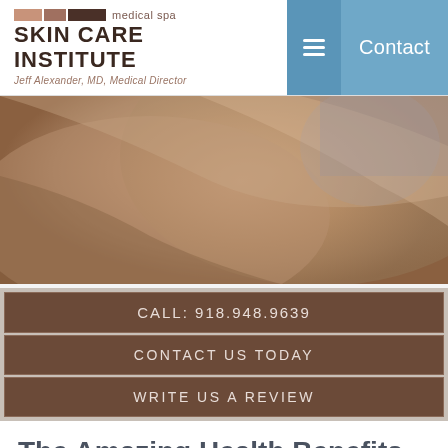medical spa SKIN CARE INSTITUTE Jeff Alexander, MD, Medical Director | Contact
[Figure (photo): Close-up macro photo of human skin/shoulder area with warm brown tones]
CALL: 918.948.9639
CONTACT US TODAY
WRITE US A REVIEW
The Amazing Health Benefits of Massage! Tulsa, OK
July 12, 2018 by Skin Care Institute